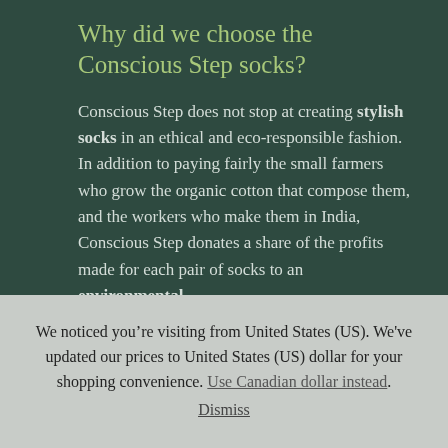Why did we choose the Conscious Step socks?
Conscious Step does not stop at creating stylish socks in an ethical and eco-responsible fashion. In addition to paying fairly the small farmers who grow the organic cotton that compose them, and the workers who make them in India, Conscious Step donates a share of the profits made for each pair of socks to an environmental,
We noticed you’re visiting from United States (US). We’ve updated our prices to United States (US) dollar for your shopping convenience. Use Canadian dollar instead. Dismiss